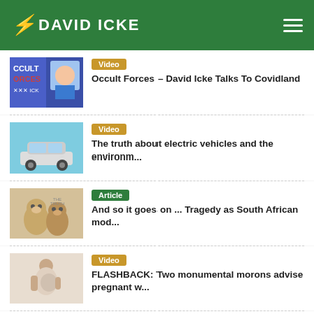DAVID ICKE
Video — Occult Forces - David Icke Talks To Covidland
Video — The truth about electric vehicles and the environm...
Article — And so it goes on ... Tragedy as South African mod...
Video — FLASHBACK: Two monumental morons advise pregnant w...
Article — (partial, cut off at bottom)